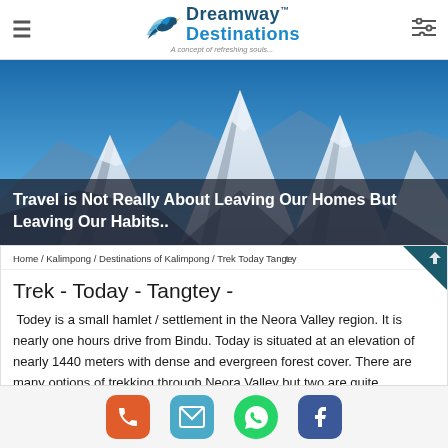Dreamway™ Destinations — A concept of refreshing souls...
[Figure (photo): Snow-capped mountain peaks under blue sky — hero banner image]
Travel is Not Really About Leaving Our Homes But Leaving Our Habits..
Home / Kalimpong / Destinations of Kalimpong / Trek Today Tangtey
Trek - Today - Tangtey -
Todey is a small hamlet / settlement in the Neora Valley region. It is nearly one hours drive from Bindu. Today is situated at an elevation of nearly 1440 meters with dense and evergreen forest cover. There are many options of trekking through Neora Valley but two are quite
Contact: Phone | Email | WhatsApp | Facebook